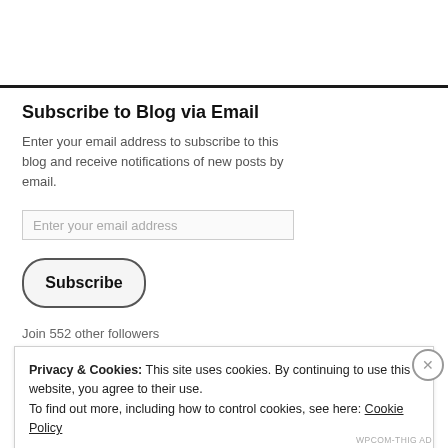Subscribe to Blog via Email
Enter your email address to subscribe to this blog and receive notifications of new posts by email.
Join 552 other followers
Privacy & Cookies: This site uses cookies. By continuing to use this website, you agree to their use. To find out more, including how to control cookies, see here: Cookie Policy
Close and accept
WPCOM-THIG AD